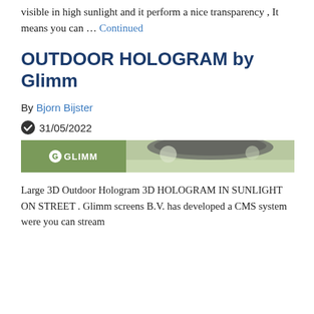visible in high sunlight and it perform a nice transparency , It means you can … Continued
OUTDOOR HOLOGRAM by Glimm
By Bjorn Bijster
31/05/2022
[Figure (photo): Banner image with Glimm logo on dark green left panel and outdoor/nature scene on the right]
Large 3D Outdoor Hologram 3D HOLOGRAM IN SUNLIGHT ON STREET . Glimm screens B.V. has developed a CMS system were you can stream